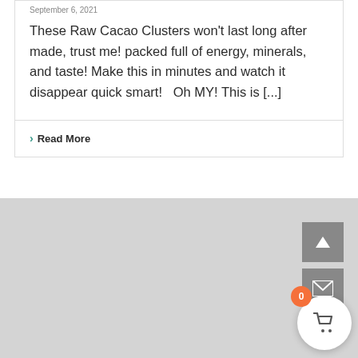September 6, 2021
These Raw Cacao Clusters won't last long after made, trust me! packed full of energy, minerals, and taste! Make this in minutes and watch it disappear quick smart!   Oh MY! This is [...]
› Read More
[Figure (map): Gray map placeholder area with navigation controls: an up-arrow button, an email/envelope button, and a shopping cart button with badge showing 0]